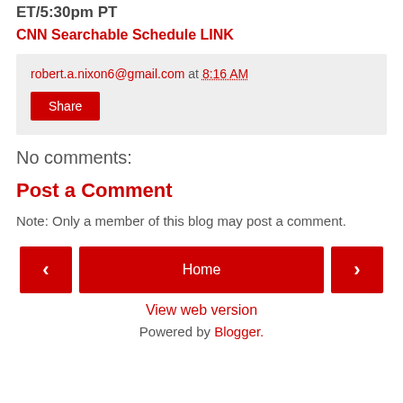ET/5:30pm PT
CNN Searchable Schedule LINK
robert.a.nixon6@gmail.com at 8:16 AM
Share
No comments:
Post a Comment
Note: Only a member of this blog may post a comment.
< Home >
View web version
Powered by Blogger.